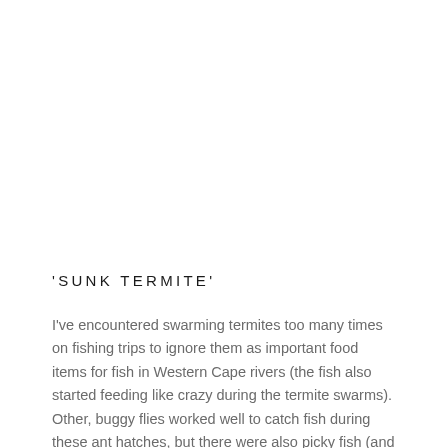'SUNK TERMITE'
I've encountered swarming termites too many times on fishing trips to ignore them as important food items for fish in Western Cape rivers (the fish also started feeding like crazy during the termite swarms). Other, buggy flies worked well to catch fish during these ant hatches, but there were also picky fish (and some really [...]